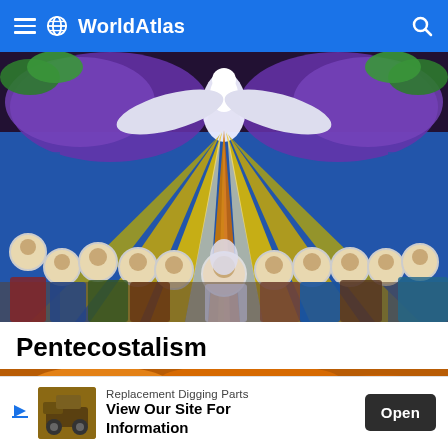WorldAtlas
[Figure (illustration): Stained glass window depicting the Pentecost scene: a white dove descending with rays of yellow, orange, and white light, surrounded by figures with halos representing the apostles and Virgin Mary below.]
Pentecostalism
[Figure (photo): Partial view of a building with ornate roof architecture against a dramatic orange and cloudy sky.]
Replacement Digging Parts View Our Site For Information
Open